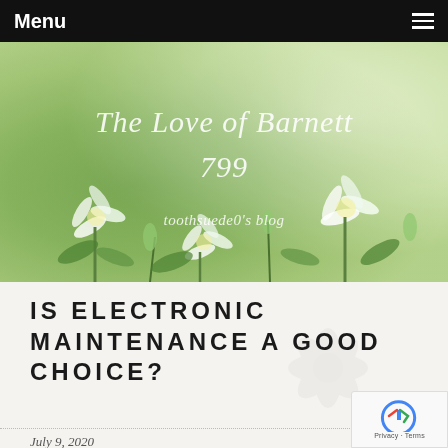Menu
[Figure (photo): Hero banner showing white flowers and green foliage with cursive text overlay reading 'The Love of Barnett 799' and subtitle 'toothsuede0's blog']
The Love of Barnett 799
toothsuede0's blog
IS ELECTRONIC MAINTENANCE A GOOD CHOICE?
July 9, 2020